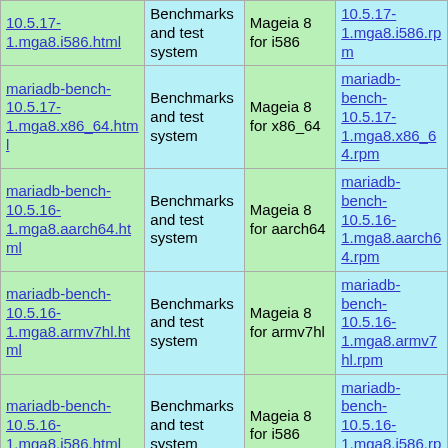| Package | Description | Platform | RPM |
| --- | --- | --- | --- |
| 10.5.17-1.mga8.i586.html | Benchmarks and test system | Mageia 8 for i586 | 10.5.17-1.mga8.i586.rpm |
| mariadb-bench-10.5.17-1.mga8.x86_64.html | Benchmarks and test system | Mageia 8 for x86_64 | mariadb-bench-10.5.17-1.mga8.x86_64.rpm |
| mariadb-bench-10.5.16-1.mga8.aarch64.html | Benchmarks and test system | Mageia 8 for aarch64 | mariadb-bench-10.5.16-1.mga8.aarch64.rpm |
| mariadb-bench-10.5.16-1.mga8.armv7hl.html | Benchmarks and test system | Mageia 8 for armv7hl | mariadb-bench-10.5.16-1.mga8.armv7hl.rpm |
| mariadb-bench-10.5.16-1.mga8.i586.html | Benchmarks and test system | Mageia 8 for i586 | mariadb-bench-10.5.16-1.mga8.i586.rpm |
| mariadb-bench-10.5.16-1.mga8.x86_64.html | Benchmarks and test system | Mageia 8 for x86_64 | mariadb-bench-10.5.16-1.mga8.x86_64.rpm |
| mariadb-bench-10.5.15-1.mga8.aarch64.html | Benchmarks and test system | Mageia 8 for aarch64 | mariadb-bench-10.5.15-1.mga8.aarch64.rpm |
| mariadb-bench-10.5.15-1.mga8.armv7hl.html | Benchmarks and test system | Mageia 8 for armv7hl | mariadb-bench-10.5.15-1.mga8.armv7hl.rpm |